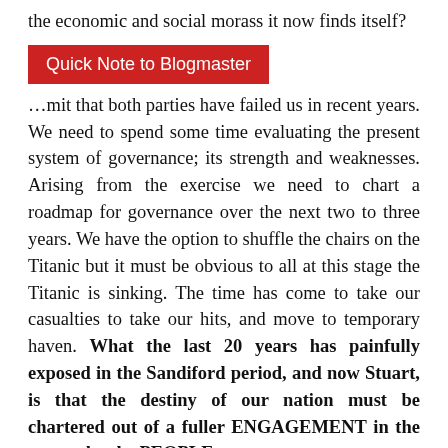the economic and social morass it now finds itself?
[Figure (other): Red button/badge labeled 'Quick Note to Blogmaster']
…mit that both parties have failed us in recent years. We need to spend some time evaluating the present system of governance; its strength and weaknesses. Arising from the exercise we need to chart a roadmap for governance over the next two to three years. We have the option to shuffle the chairs on the Titanic but it must be obvious to all at this stage the Titanic is sinking. The time has come to take our casualties to take our hits, and move to temporary haven. What the last 20 years has painfully exposed in the Sandiford period, and now Stuart, is that the destiny of our nation must be chartered out of a fuller ENGAGEMENT in the system by the PEOPLE.
Barbados has done well in the post-Independence